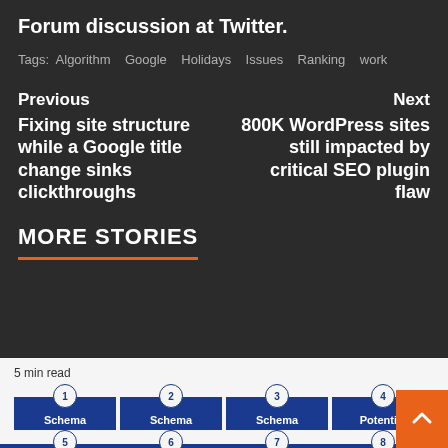Forum discussion at Twitter.
Tags: Algorithm  Google  Holidays  Issues  Ranking  work
Previous
Next
Fixing site structure while a Google title change sinks clickthroughs
800K WordPress sites still impacted by critical SEO plugin flaw
MORE STORIES
5 min read
1 Schema Vocabulary
2 Schema Gaps
3 Schema Mapping
4 Potential Sizing
5 Topical Gaps
6 Content Elements
7 Content Enhancement
8 Page Mock-up